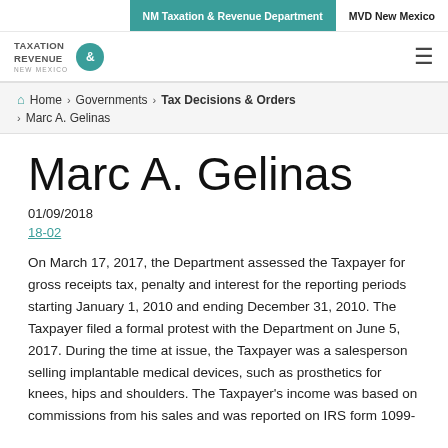NM Taxation & Revenue Department | MVD New Mexico
[Figure (logo): Taxation & Revenue New Mexico logo with teal circle and ampersand]
Home › Governments › Tax Decisions & Orders › Marc A. Gelinas
Marc A. Gelinas
01/09/2018
18-02
On March 17, 2017, the Department assessed the Taxpayer for gross receipts tax, penalty and interest for the reporting periods starting January 1, 2010 and ending December 31, 2010. The Taxpayer filed a formal protest with the Department on June 5, 2017. During the time at issue, the Taxpayer was a salesperson selling implantable medical devices, such as prosthetics for knees, hips and shoulders. The Taxpayer's income was based on commissions from his sales and was reported on IRS form 1099-